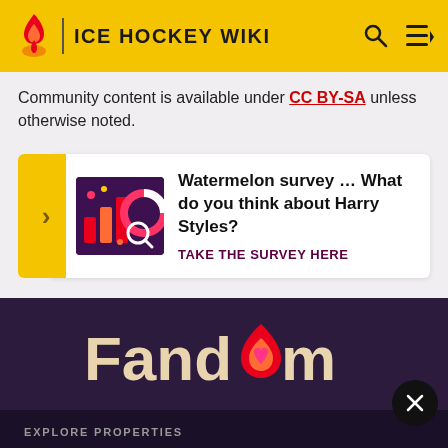ICE HOCKEY WIKI
Community content is available under CC BY-SA unless otherwise noted.
[Figure (infographic): Survey banner with arrow, decorative image, text 'Watermelon survey … What do you think about Harry Styles?' and CTA 'TAKE THE SURVEY HERE']
[Figure (logo): Fandom logo with flame icon containing heart, on dark purple background]
EXPLORE PROPERTIES
Fandom    Futhead